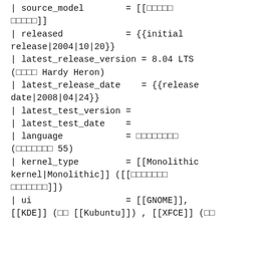| source_model        = [[□□□□□ □□□□□]]
| released            = {{initial release|2004|10|20}}
| latest_release_version = 8.04 LTS (□□□□ Hardy Heron)
| latest_release_date    = {{release date|2008|04|24}}
| latest_test_version =
| latest_test_date    =
| language            = □□□□□□□□ (□□□□□□□ 55)
| kernel_type         = [[Monolithic kernel|Monolithic]] ([[□□□□□□□ □□□□□□□□]])
| ui                  = [[GNOME]], [[KDE]] (□□ [[Kubuntu]]) , [[XFCE]] (□□